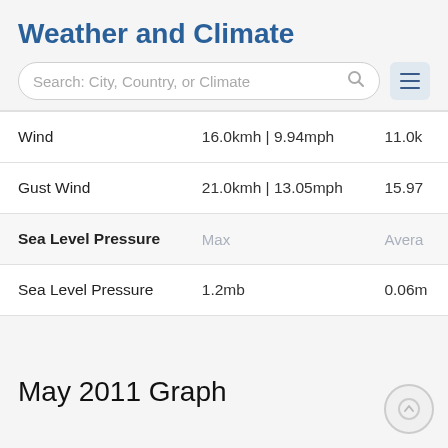Weather and Climate
|  | Max | Average |
| --- | --- | --- |
| Wind | 16.0kmh | 9.94mph | 11.0k |
| Gust Wind | 21.0kmh | 13.05mph | 15.97 |
| Sea Level Pressure | Max | Avera |
| Sea Level Pressure | 1.2mb | 0.06m |
May 2011 Graph